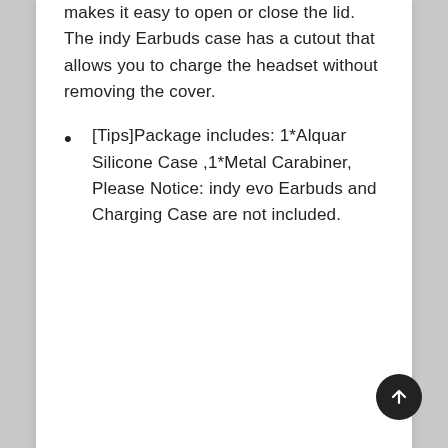makes it easy to open or close the lid. The indy Earbuds case has a cutout that allows you to charge the headset without removing the cover.
[Tips]Package includes: 1*Alquar Silicone Case ,1*Metal Carabiner, Please Notice: indy evo Earbuds and Charging Case are not included.